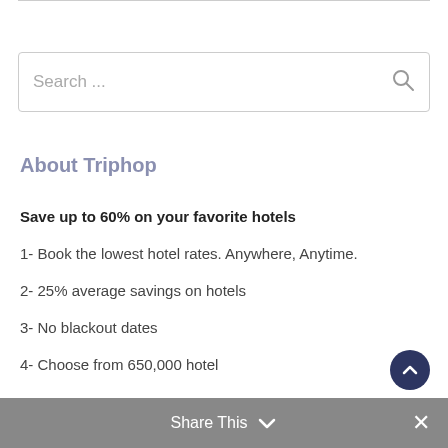Search ...
About Triphop
Save up to 60% on your favorite hotels
1- Book the lowest hotel rates. Anywhere, Anytime.
2- 25% average savings on hotels
3- No blackout dates
4- Choose from 650,000 hotel
Share This